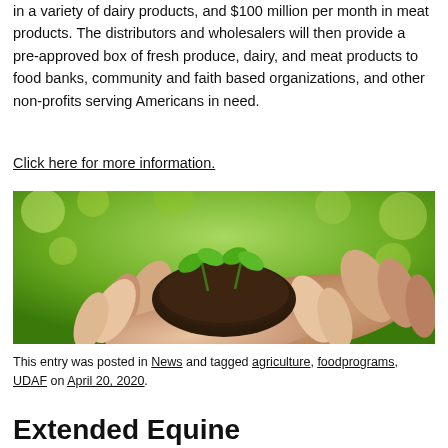in a variety of dairy products, and $100 million per month in meat products. The distributors and wholesalers will then provide a pre-approved box of fresh produce, dairy, and meat products to food banks, community and faith based organizations, and other non-profits serving Americans in need.
Click here for more information.
[Figure (photo): Two sets of hands — one smaller, one larger — cupping dark soil containing two small green seedling sprouts, with a blurred green bokeh background.]
This entry was posted in News and tagged agriculture, foodprograms, UDAF on April 20, 2020.
Extended Equine